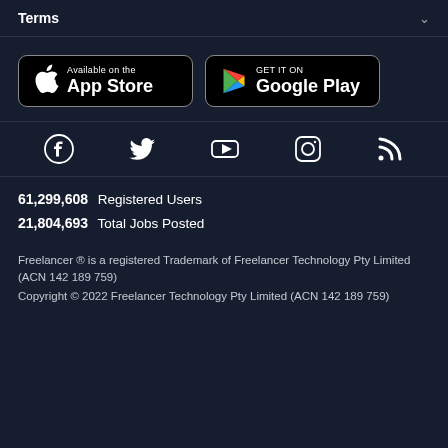Terms
[Figure (screenshot): App Store and Google Play download buttons on dark background]
[Figure (infographic): Social media icons: Facebook, Twitter, YouTube, Instagram, RSS]
61,299,608  Registered Users
21,804,693  Total Jobs Posted
Freelancer ® is a registered Trademark of Freelancer Technology Pty Limited (ACN 142 189 759)
Copyright © 2022 Freelancer Technology Pty Limited (ACN 142 189 759)